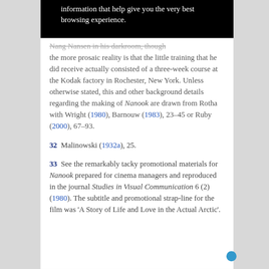information that help give you the very best browsing experience.
Nang Nansen in his darkroom, though the more prosaic reality is that the little training that he did receive actually consisted of a three-week course at the Kodak factory in Rochester, New York. Unless otherwise stated, this and other background details regarding the making of Nanook are drawn from Rotha with Wright (1980), Barnouw (1983), 23–45 or Ruby (2000), 67–93.
32  Malinowski (1932a), 25.
33  See the remarkably tacky promotional materials for Nanook prepared for cinema managers and reproduced in the journal Studies in Visual Communication 6 (2) (1980). The subtitle and promotional strap-line for the film was 'A Story of Life and Love in the Actual Arctic'.